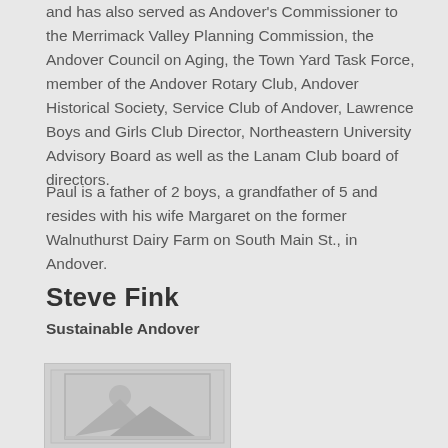and has also served as Andover's Commissioner to the Merrimack Valley Planning Commission, the Andover Council on Aging, the Town Yard Task Force, member of the Andover Rotary Club, Andover Historical Society, Service Club of Andover, Lawrence Boys and Girls Club Director, Northeastern University Advisory Board as well as the Lanam Club board of directors.
Paul is a father of 2 boys, a grandfather of 5 and resides with his wife Margaret on the former Walnuthurst Dairy Farm on South Main St., in Andover.
Steve Fink
Sustainable Andover
[Figure (photo): Placeholder image icon with mountain and sun silhouette]